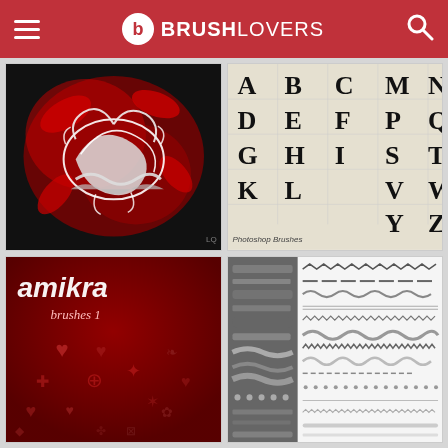BRUSHLOVERS
[Figure (photo): Decorative dragon/ornate brush preview on black and red background with white swirling elements]
[Figure (photo): Alphabet letter brushes preview showing letters A-Z in serif style on aged parchment background with 'Photoshop Brushes' label]
[Figure (photo): Amikra Brushes 1 preview showing decorative symbols and icons on dark red background with text 'amikra brushes 1']
[Figure (photo): Stitch/sewing brush strokes preview showing various brush stroke styles in gray and white on split dark/light background]